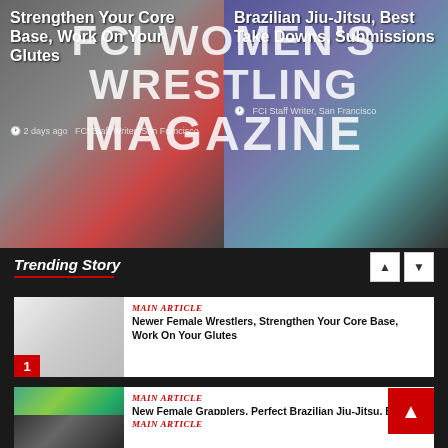[Figure (screenshot): Top banner split into two article preview images with overlaid text. Left: woman exercising in red workout clothes, article about strengthening core and glutes. Right: woman in blue top, article about Brazilian Jiu-Jitsu takedowns and submissions.]
FCI WOMEN'S WRESTLING MAGAZINE
Trending Story
Main Article
Newer Female Wrestlers, Strengthen Your Core Base, Work On Your Glutes
Main Article
New Female Grapplers, Perfect Brazilian Jiu-Jitsu, Best Take Downs, Submissions
Main Article